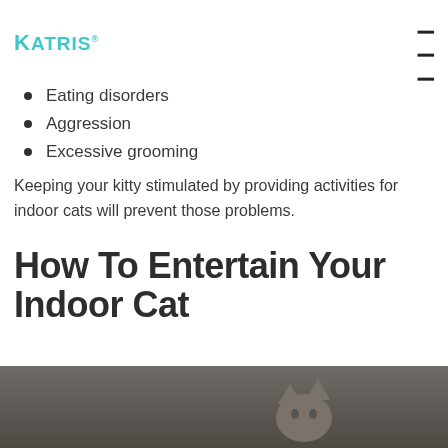Katris
Eating disorders
Aggression
Excessive grooming
Keeping your kitty stimulated by providing activities for indoor cats will prevent those problems.
How To Entertain Your Indoor Cat
[Figure (photo): Photo of a cat, blurred background, cat visible in lower portion of page]